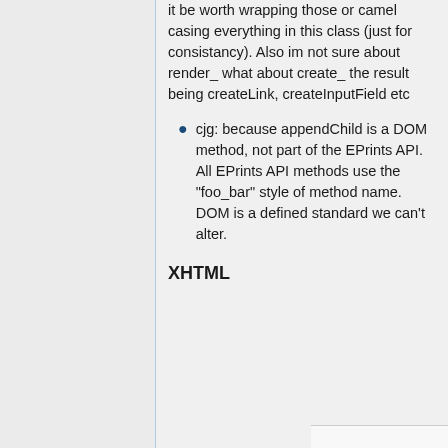it be worth wrapping those or camel casing everything in this class (just for consistancy). Also im not sure about render_ what about create_ the result being createLink, createInputField etc
cjg: because appendChild is a DOM method, not part of the EPrints API. All EPrints API methods use the "foo_bar" style of method name. DOM is a defined standard we can't alter.
XHTML